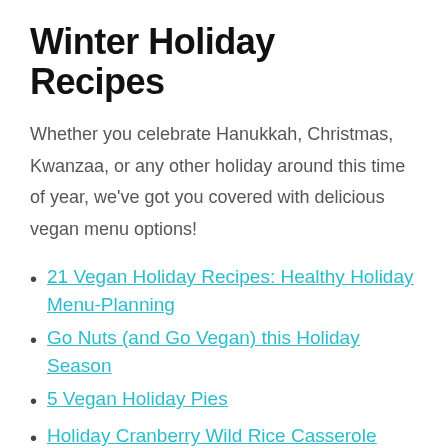Winter Holiday Recipes
Whether you celebrate Hanukkah, Christmas, Kwanzaa, or any other holiday around this time of year, we've got you covered with delicious vegan menu options!
21 Vegan Holiday Recipes: Healthy Holiday Menu-Planning
Go Nuts (and Go Vegan) this Holiday Season
5 Vegan Holiday Pies
Holiday Cranberry Wild Rice Casserole
Vegan Gingerbread Cookie Recipe